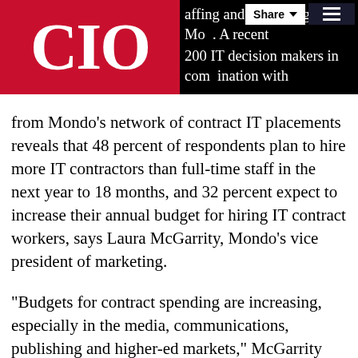CIO | affing and consulting firm Mondo. A recent ...200 IT decision makers in combination with...
from Mondo's network of contract IT placements reveals that 48 percent of respondents plan to hire more IT contractors than full-time staff in the next year to 18 months, and 32 percent expect to increase their annual budget for hiring IT contract workers, says Laura McGarrity, Mondo's vice president of marketing.
"Budgets for contract spending are increasing, especially in the media, communications, publishing and higher-ed markets," McGarrity says.
"What we see from our clients is they are using those budgets to invest in IT contractors skilled at maximizing and squeezing additional value out of their existing technology platforms. They need Web developers, application developers, and mobile development professionals, and also a lot of that